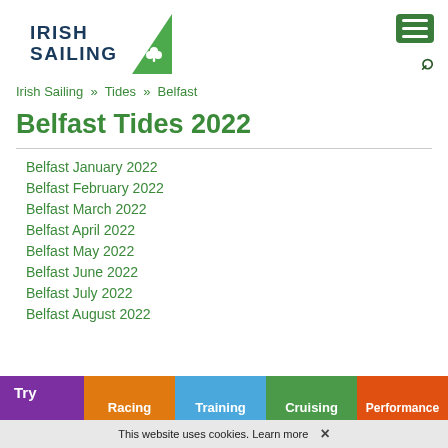[Figure (logo): Irish Sailing logo with green sail and shamrock]
Irish Sailing » Tides » Belfast
Belfast Tides 2022
Belfast January 2022
Belfast February 2022
Belfast March 2022
Belfast April 2022
Belfast May 2022
Belfast June 2022
Belfast July 2022
Belfast August 2022
Try | Racing | Training | Cruising | Performance
This website uses cookies. Learn more